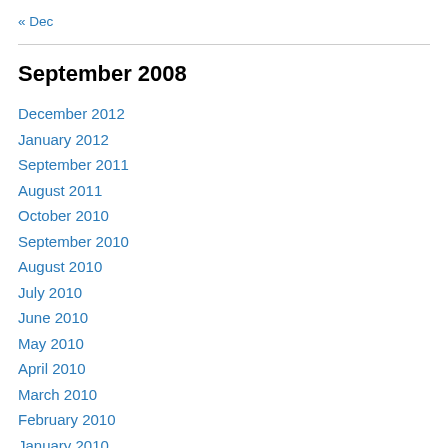« Dec
September 2008
December 2012
January 2012
September 2011
August 2011
October 2010
September 2010
August 2010
July 2010
June 2010
May 2010
April 2010
March 2010
February 2010
January 2010
December 2009